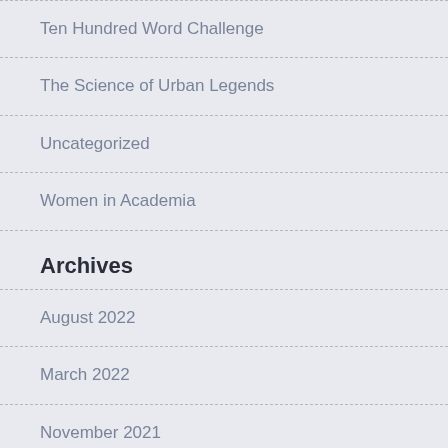Ten Hundred Word Challenge
The Science of Urban Legends
Uncategorized
Women in Academia
Archives
August 2022
March 2022
November 2021
August 2021